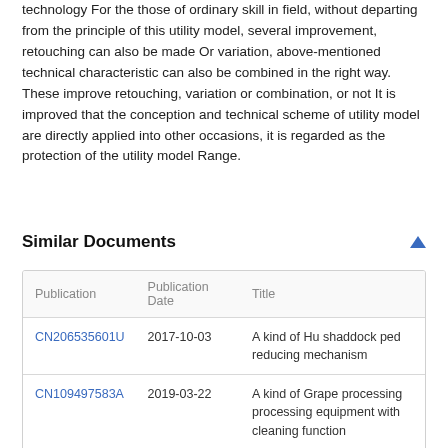technology For the those of ordinary skill in field, without departing from the principle of this utility model, several improvement, retouching can also be made Or variation, above-mentioned technical characteristic can also be combined in the right way. These improve retouching, variation or combination, or not It is improved that the conception and technical scheme of utility model are directly applied into other occasions, it is regarded as the protection of the utility model Range.
Similar Documents
| Publication | Publication Date | Title |
| --- | --- | --- |
| CN206535601U | 2017-10-03 | A kind of Hu shaddock ped reducing mechanism |
| CN109497583A | 2019-03-22 | A kind of Grape processing processing equipment with cleaning function |